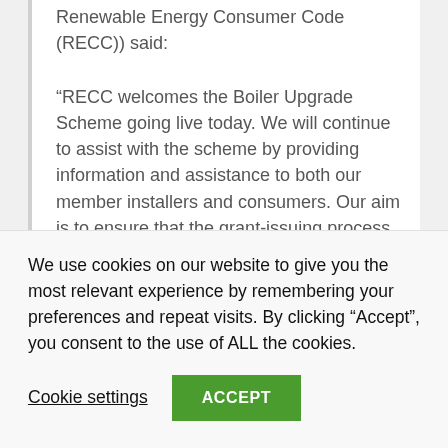Renewable Energy Consumer Code (RECC)) said:
“RECC welcomes the Boiler Upgrade Scheme going live today. We will continue to assist with the scheme by providing information and assistance to both our member installers and consumers. Our aim is to ensure that the grant-issuing process is well-understood and straightforward for all concerned so that take-up will be high.
“To meet its Net Zero targets Government needs to scale up installations of low carbon heating systems including heat pumps and
We use cookies on our website to give you the most relevant experience by remembering your preferences and repeat visits. By clicking “Accept”, you consent to the use of ALL the cookies.
Cookie settings
ACCEPT